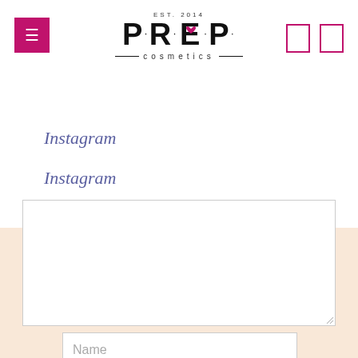[Figure (logo): PREP cosmetics logo with EST. 2014 text, magenta dot accents and horizontal lines under the name]
Instagram
Instagram
[Figure (screenshot): White textarea input box for comment/message entry with resize handle]
Name